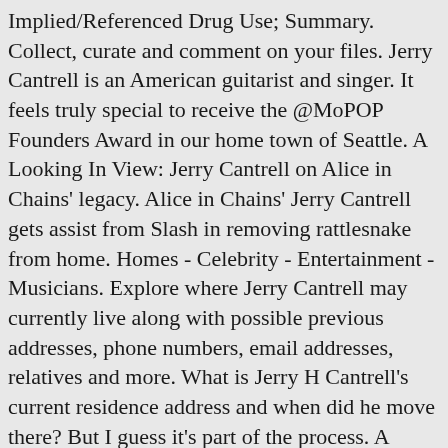Implied/Referenced Drug Use; Summary. Collect, curate and comment on your files. Jerry Cantrell is an American guitarist and singer. It feels truly special to receive the @MoPOP Founders Award in our home town of Seattle. A Looking In View: Jerry Cantrell on Alice in Chains' legacy. Alice in Chains' Jerry Cantrell gets assist from Slash in removing rattlesnake from home. Homes - Celebrity - Entertainment - Musicians. Explore where Jerry Cantrell may currently live along with possible previous addresses, phone numbers, email addresses, relatives and more. What is Jerry H Cantrell's current residence address and when did he move there? But I guess it's part of the process. A scene that came to me after watching AIC live at the Hollywood Rock 01/22/1993. Select from premium Jerry Cantrell of the highest quality. Name: Jerry L Cantrell Address: 3502 Carla Dr Rowlett, TX 75088 Phone: (214) 533-2868 Age: 62 years old Marital Status: Married. ...